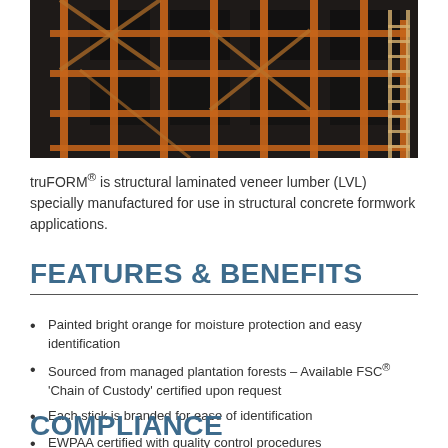[Figure (photo): Construction site showing wooden formwork scaffolding with orange-painted LVL lumber framing structures against a dark building background.]
truFORM® is structural laminated veneer lumber (LVL) specially manufactured for use in structural concrete formwork applications.
FEATURES & BENEFITS
Painted bright orange for moisture protection and easy identification
Sourced from managed plantation forests – Available FSC® 'Chain of Custody' certified upon request
Each stick is branded for ease of identification
EWPAA certified with quality control procedures
COMPLIANCE